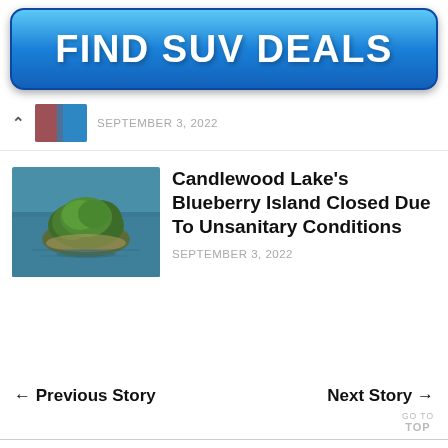[Figure (other): Blue rounded rectangular advertisement button reading FIND SUV DEALS in large white bold text]
SEPTEMBER 3, 2022
Candlewood Lake's Blueberry Island Closed Due To Unsanitary Conditions
[Figure (photo): Aerial photo of a small green island surrounded by water, Blueberry Island on Candlewood Lake]
SEPTEMBER 3, 2022
← Previous Story
Next Story →
GO TO
TOP